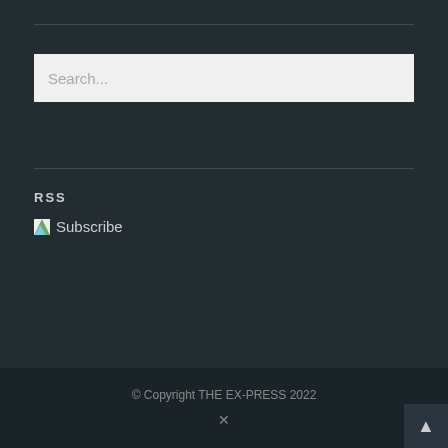Search...
RSS
Subscribe
© Copyright THE EX-PRESS 2022